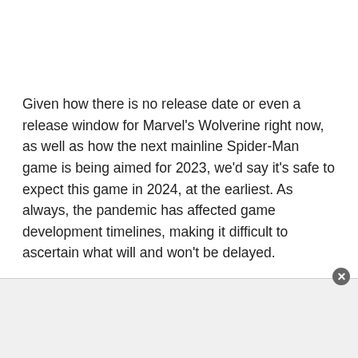Given how there is no release date or even a release window for Marvel's Wolverine right now, as well as how the next mainline Spider-Man game is being aimed for 2023, we'd say it's safe to expect this game in 2024, at the earliest. As always, the pandemic has affected game development timelines, making it difficult to ascertain what will and won't be delayed.